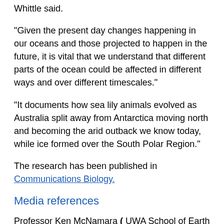Whittle said.
“Given the present day changes happening in our oceans and those projected to happen in the future, it is vital that we understand that different parts of the ocean could be affected in different ways and over different timescales.”
“It documents how sea lily animals evolved as Australia split away from Antarctica moving north and becoming the arid outback we know today, while ice formed over the South Polar Region.”
The research has been published in Communications Biology.
Media references
Professor Ken McNamara ( UWA School of Earth Sciences) (+61 4) 47 224 619
Jess Reid (UWA Media and Public Relations Advisor) (+61 8) 6488 6876